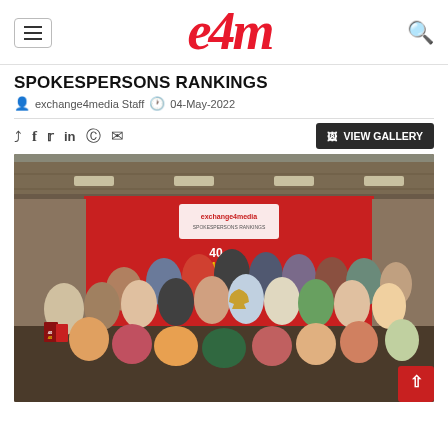e4m — exchange4media
SPOKESPERSONS RANKINGS
exchange4media Staff  04-May-2022
[Figure (photo): Group photo of award winners at the e4m 40 Under 40 / Spokespersons Rankings event, posing in front of a red branded backdrop, holding trophies and magazines.]
VIEW GALLERY